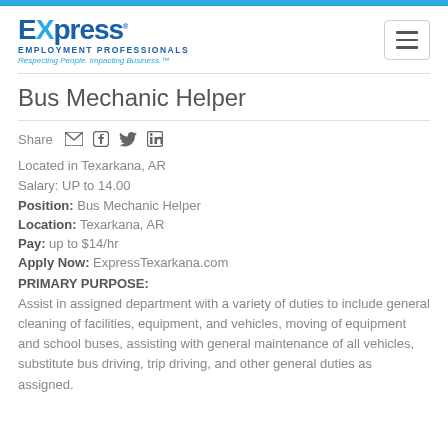[Figure (logo): Express Employment Professionals logo with tagline 'Respecting People. Impacting Business.']
Bus Mechanic Helper
Share [email] [facebook] [twitter] [linkedin]
Located in Texarkana, AR
Salary: UP to 14.00
Position: Bus Mechanic Helper
Location: Texarkana, AR
Pay: up to $14/hr
Apply Now: ExpressTexarkana.com
PRIMARY PURPOSE:
Assist in assigned department with a variety of duties to include general cleaning of facilities, equipment, and vehicles, moving of equipment and school buses, assisting with general maintenance of all vehicles, substitute bus driving, trip driving, and other general duties as assigned.